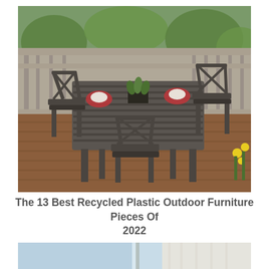[Figure (photo): Outdoor patio scene on a wood deck with a large rectangular grey recycled plastic dining table surrounded by six matching chippendale-style chairs with X-back design. Table is set with red placemats, dishes, and a centerpiece plant. Background shows wooden deck railing, trees, and yellow flowers.]
The 13 Best Recycled Plastic Outdoor Furniture Pieces Of 2022
[Figure (photo): Partial view of an indoor room with light blue sky visible through window, sheer white curtains, and a tropical palm plant in the foreground.]